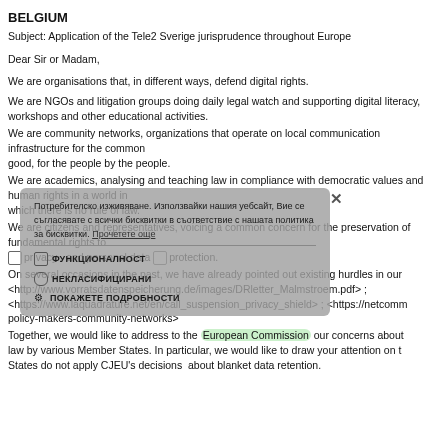BELGIUM
Subject: Application of the Tele2 Sverige jurisprudence throughout Europe
Dear Sir or Madam,
We are organisations that, in different ways, defend digital rights.
We are NGOs and litigation groups doing daily legal watch and supporting digital literacy, workshops and other educational activities.
We are community networks, organizations that operate on local communication infrastructure for the common good, for the people by the people.
We are academics, analysing and teaching law in compliance with democratic values and human rights in a world in which there is no rule of law.
We are citizens and representatives, voicing a common concern for the preservation of fundamental rights to privacy and personal data protection.
On several occasions in the past, we have already pointed out existing hurdles in our letters and open letters: <http://www.vorratsdatenspeicherung.de/images/DRletter_Malmstroem.pdf> ; <https://www.laquadrature.net/en/call_suspension_privacy_shield> ; <https://netcommons.eu/resources/open-letter-policy-makers-community-networks>
Together, we would like to address to the European Commission our concerns about the implementation of EU law by various Member States. In particular, we would like to draw your attention on the fact that many Member States do not apply CJEU's decisions about blanket data retention.